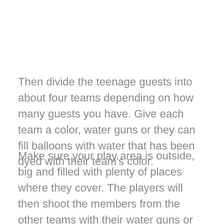Then divide the teenage guests into about four teams depending on how many guests you have. Give each team a color, water guns or they can fill balloons with water that has been dyed with their team’s color.
Make sure your play area is outside, big and filled with plenty of places where they cover. The players will then shoot the members from the other teams with their water guns or balloons while avoiding getting shot themselves. If you are hit, you are out and the last one standing will be the winner.